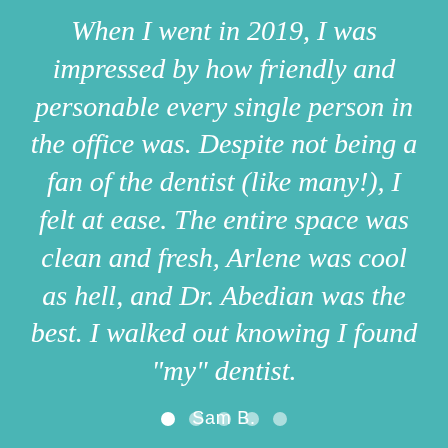When I went in 2019, I was impressed by how friendly and personable every single person in the office was. Despite not being a fan of the dentist (like many!), I felt at ease. The entire space was clean and fresh, Arlene was cool as hell, and Dr. Abedian was the best. I walked out knowing I found "my" dentist.
Sam B.